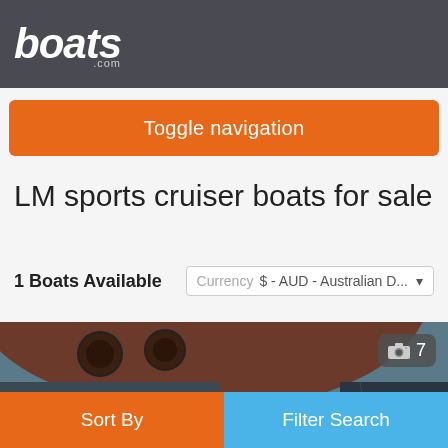boats.com
Toggle navigation
LM sports cruiser boats for sale
1 Boats Available
Currency  $ - AUD - Australian D...
[Figure (photo): Aerial view of a boat listing showing top deck of a sports cruiser with a camera icon badge showing 7 photos]
Sort By
Filter Search